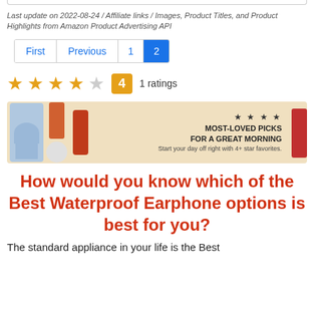Last update on 2022-08-24 / Affiliate links / Images, Product Titles, and Product Highlights from Amazon Product Advertising API
First Previous 1 2
[Figure (other): Star rating: 4 out of 5 stars, badge showing 4, 1 ratings]
[Figure (photo): Amazon banner ad: Most-loved picks for a great morning. Start your day off right with 4+ star favorites. Shows gym clothes, sunscreen, smart speaker, french press coffee maker, dumbbells.]
How would you know which of the Best Waterproof Earphone options is best for you?
The standard appliance in your life is the Best